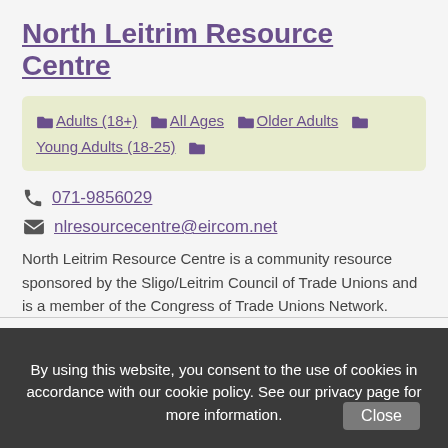North Leitrim Resource Centre
Adults (18+)  All Ages  Older Adults  Young Adults (18-25)
071-9856029
nlresourcecentre@eircom.net
North Leitrim Resource Centre is a community resource sponsored by the Sligo/Leitrim Council of Trade Unions and is a member of the Congress of Trade Unions Network.
By using this website, you consent to the use of cookies in accordance with our cookie policy. See our privacy page for more information.   Close